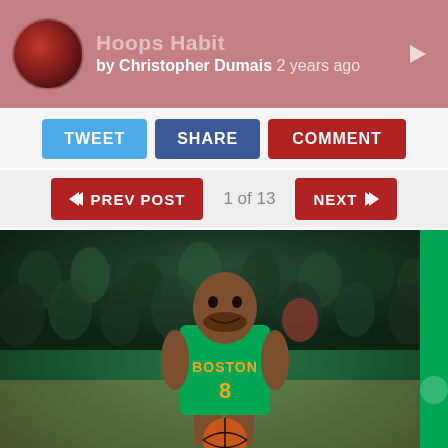Hoops Habit — by Christopher Dumais 2 years ago
TWEET | SHARE | COMMENT
« PREV POST   1 of 13   NEXT »
[Figure (photo): NBA basketball player wearing a Boston Celtics green jersey number 8, dribbling on court with a crowd of fans in the background]